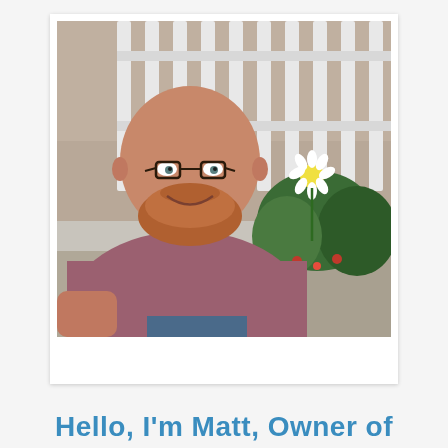[Figure (photo): Selfie of a bald man with red beard and glasses wearing a mauve/dusty-rose t-shirt, outdoors near a white fence and a flower garden with a white daisy, taken in a Polaroid-style white frame]
Hello, I'm Matt, Owner of